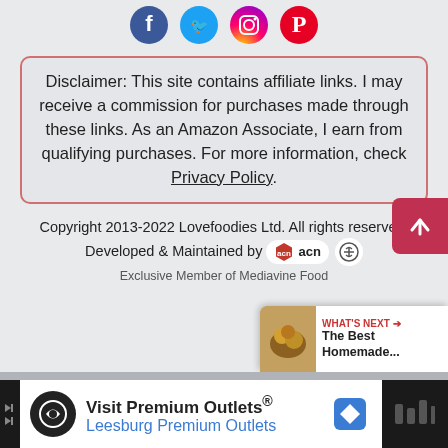[Figure (logo): Four social media icons: Facebook (blue circle), Twitter (blue circle), Instagram (gradient circle), Pinterest (red circle)]
Disclaimer: This site contains affiliate links. I may receive a commission for purchases made through these links. As an Amazon Associate, I earn from qualifying purchases. For more information, check Privacy Policy.
Copyright 2013-2022 Lovefoodies Ltd. All rights reserved. Developed & Maintained by acn
Exclusive Member of Mediavine Food
[Figure (infographic): What's Next panel with food photo thumbnail, label 'WHAT'S NEXT →', and title 'The Best Homemade...']
[Figure (infographic): Advertisement bar: Visit Premium Outlets® Leesburg Premium Outlets with logo circle and direction sign icon]